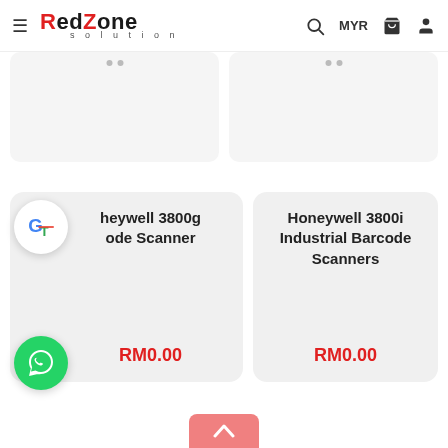RedZone Solution — MYR
[Figure (screenshot): Top row of product cards, partially visible, with gray placeholder backgrounds and dot indicators]
Honeywell 3800g Barcode Scanner
RM0.00
Honeywell 3800i Industrial Barcode Scanners
RM0.00
[Figure (logo): Google Translate floating icon overlay]
[Figure (logo): WhatsApp floating button (green circle with phone/chat icon)]
[Figure (other): Pink back-to-top arrow button at bottom center]